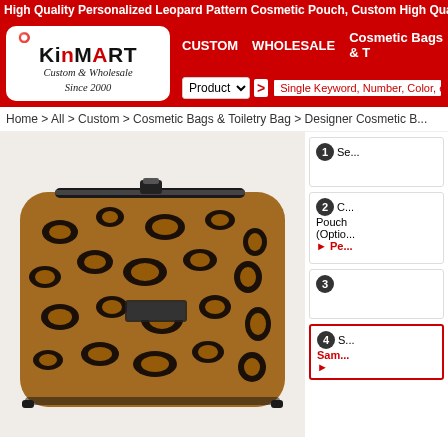High Quality Personalized Leopard Pattern Cosmetic Pouch, Custom High Quality Personalized...
[Figure (logo): KinMart logo - Custom & Wholesale Since 2000]
CUSTOM   WHOLESALE   Cosmetic Bags & T...
Product > Single Keyword, Number, Color, etc...
Home > All > Custom > Cosmetic Bags & Toiletry Bag > Designer Cosmetic B...
[Figure (photo): High quality personalized leopard pattern cosmetic pouch - a rectangular cosmetic bag with black zipper and glossy leopard print pattern]
1 Se...
2 C... Pouch (Optio...
▶ Pe...
3
4 S... Sam... ▶